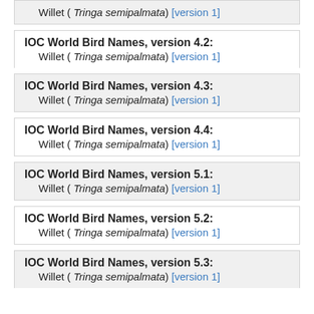Willet ( Tringa semipalmata) [version 1]
IOC World Bird Names, version 4.2:
Willet ( Tringa semipalmata) [version 1]
IOC World Bird Names, version 4.3:
Willet ( Tringa semipalmata) [version 1]
IOC World Bird Names, version 4.4:
Willet ( Tringa semipalmata) [version 1]
IOC World Bird Names, version 5.1:
Willet ( Tringa semipalmata) [version 1]
IOC World Bird Names, version 5.2:
Willet ( Tringa semipalmata) [version 1]
IOC World Bird Names, version 5.3:
Willet ( Tringa semipalmata) [version 1]